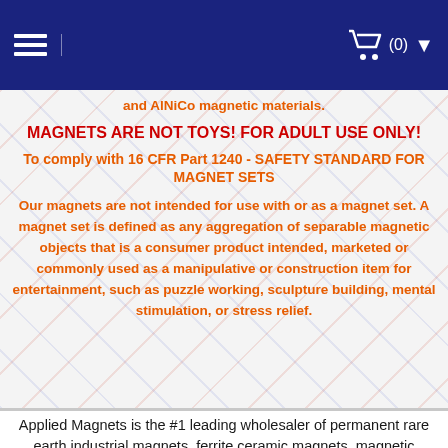(navigation bar with hamburger menu and cart icon showing (0))
and AlNiCo magnetic materials.
MAGNETS ARE NOT TOYS! FOR ADULT USE ONLY!
To comply with 16 CFR Part 1240 - SAFETY STANDARD FOR MAGNET SETS
Our magnets are not intended for use with or as a magnet set. A magnet set is defined as any aggregation of separable magnetic objects that is a consumer product intended, marketed or commonly used as a manipulative or construction item for entertainment, such as puzzle working, sculpture building, mental stimulation, or stress relief.
Applied Magnets is the #1 leading wholesaler of permanent rare earth industrial magnets, ferrite ceramic magnets, magnetic assemblies, magnet tools made with neodymium rare earth magnets, effective magnetic water treatment system and and the components of the electromagnetic systems and